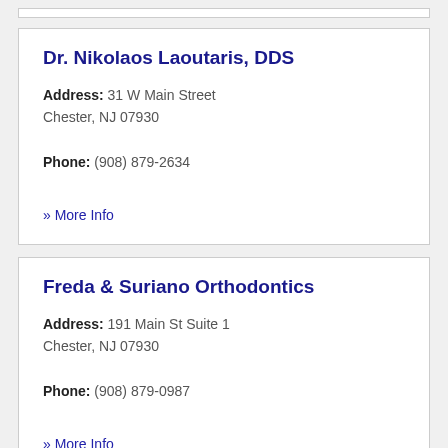Dr. Nikolaos Laoutaris, DDS
Address: 31 W Main Street
Chester, NJ 07930
Phone: (908) 879-2634
» More Info
Freda & Suriano Orthodontics
Address: 191 Main St Suite 1
Chester, NJ 07930
Phone: (908) 879-0987
» More Info